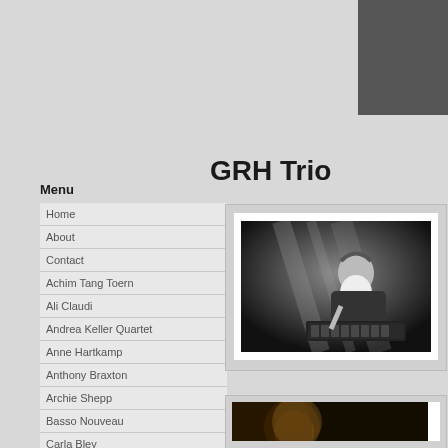[Figure (other): Dark grey rectangle in top-right corner]
GRH Trio
Menu
Home
About
Contact
Achim Tang Toern
Ali Claudi
Andrea Keller Quartet
Anne Hartkamp
Anthony Braxton
Archie Shepp
Basso Nouveau
Carla Bley
C. Corea & B. McFerrin
David Fiuczynski
dus – ti
[Figure (photo): Black and white photo of a musician with long white beard playing keyboard/synthesizer under dramatic stage lighting]
[Figure (photo): Color photo of a musician partially visible, warm toned lighting]